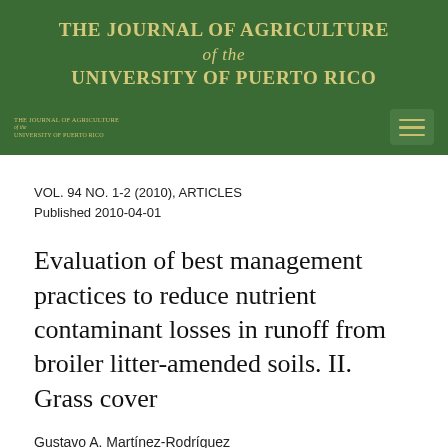THE JOURNAL OF AGRICULTURE of the UNIVERSITY OF PUERTO RICO
VOL. 94 NO. 1-2 (2010), ARTICLES
Published 2010-04-01
Evaluation of best management practices to reduce nutrient contaminant losses in runoff from broiler litter-amended soils. II. Grass cover
Gustavo A. Martínez-Rodríguez